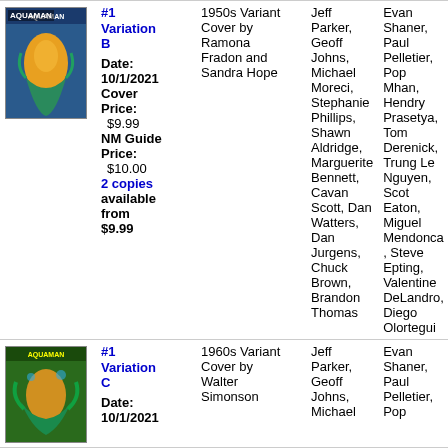| Cover | Title/Meta | Description | Writers | Artists |
| --- | --- | --- | --- | --- |
| [Aquaman cover image] | #1 Variation B
Date: 10/1/2021
Cover Price: $9.99
NM Guide Price: $10.00
2 copies available from $9.99 | 1950s Variant
Cover by Ramona Fradon and Sandra Hope | Jeff Parker, Geoff Johns, Michael Moreci, Stephanie Phillips, Shawn Aldridge, Marguerite Bennett, Cavan Scott, Dan Watters, Dan Jurgens, Chuck Brown, Brandon Thomas | Evan Shaner, Paul Pelletier, Pop Mhan, Hendry Prasetya, Tom Derenick, Trung Le Nguyen, Scot Eaton, Miguel Mendonca, Steve Epting, Valentine DeLandro, Diego Olortegui |
| [Aquaman cover image C] | #1 Variation C
Date: 10/1/2021 | 1960s Variant
Cover by Walter Simonson | Jeff Parker, Geoff Johns, Michael | Evan Shaner, Paul Pelletier, Pop |